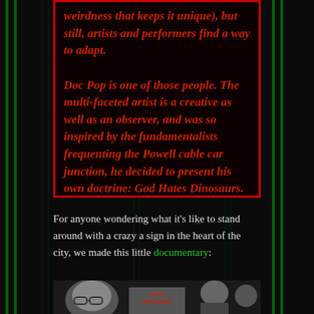weirdness that keeps it unique), but still, artists and performers find a way to adapt.

Doc Pop is one of those people. The multi-faceted artist is a creative as well as an observer, and was so inspired by the fundamentalists frequenting the Powell cable car junction, he decided to present his own doctrine: God Hates Dinosaurs.
For anyone wondering what it's like to stand around with a crazy a sign in the heart of the city, we made this little documentary:
[Figure (photo): Video thumbnail showing people holding signs including one that reads 'HATES DINOSAURS', partially visible at bottom of page]